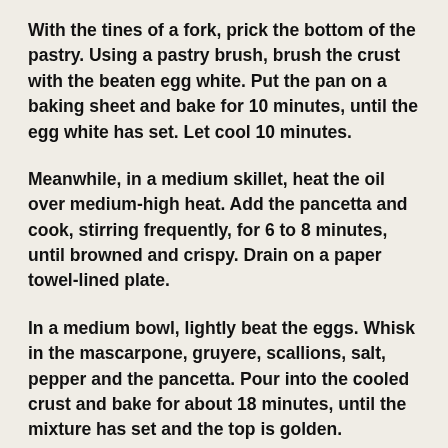With the tines of a fork, prick the bottom of the pastry. Using a pastry brush, brush the crust with the beaten egg white. Put the pan on a baking sheet and bake for 10 minutes, until the egg white has set. Let cool 10 minutes.
Meanwhile, in a medium skillet, heat the oil over medium-high heat. Add the pancetta and cook, stirring frequently, for 6 to 8 minutes, until browned and crispy. Drain on a paper towel-lined plate.
In a medium bowl, lightly beat the eggs. Whisk in the mascarpone, gruyere, scallions, salt, pepper and the pancetta. Pour into the cooled crust and bake for about 18 minutes, until the mixture has set and the top is golden.
Cool the tart for 10 to 15 minutes and then remove from the pan. Cut the tart into wedges and serve